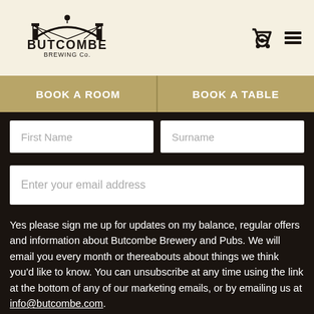[Figure (logo): Butcombe Brewing Co. logo — bridge arch with buildings, bold vintage lettering]
BOOK A ROOM   BOOK A TABLE
First Name
Surname
Enter your email address
Yes please sign me up for updates on my balance, regular offers and information about Butcombe Brewery and Pubs. We will email you every month or thereabouts about things we think you'd like to know. You can unsubscribe at any time using the link at the bottom of any of our marketing emails, or by emailing us at info@butcombe.com.
SUBSCRIBE